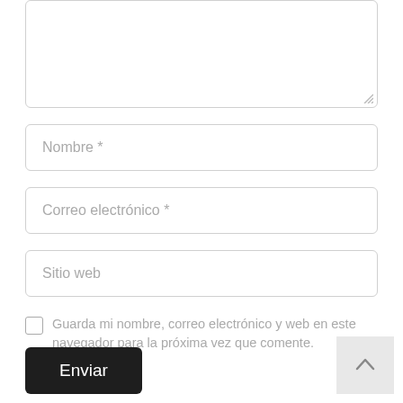[Figure (screenshot): Textarea input field (empty, with resize handle at bottom right)]
Nombre *
Correo electrónico  *
Sitio web
Guarda mi nombre, correo electrónico y web en este navegador para la próxima vez que comente.
Enviar